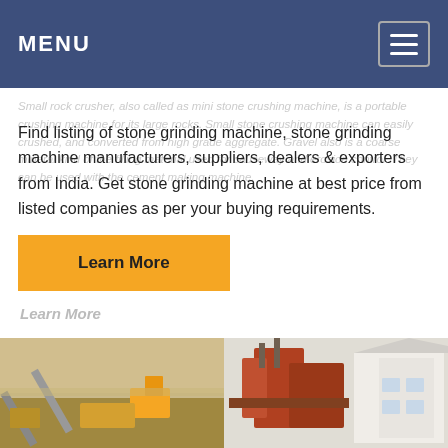MENU
Find listing of stone grinding machine, stone grinding machine manufacturers, suppliers, dealers & exporters from India. Get stone grinding machine at best price from listed companies as per your buying requirements.
Learn More
[Figure (photo): Two industrial stone crushing/grinding facility photographs side by side at the bottom of the page.]